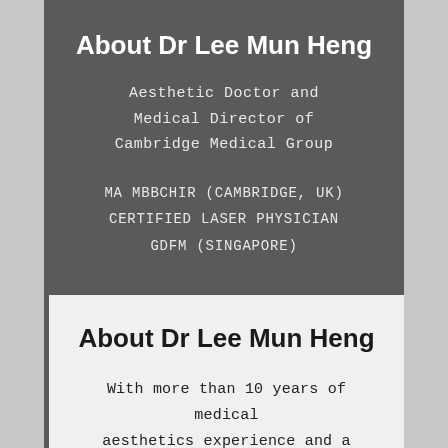About Dr Lee Mun Heng
Aesthetic Doctor and Medical Director of Cambridge Medical Group
MA MBBCHIR (CAMBRIDGE, UK)
CERTIFIED LASER PHYSICIAN
GDFM (SINGAPORE)
About Dr Lee Mun Heng
With more than 10 years of medical aesthetics experience and a graduate of the world-renowned University of